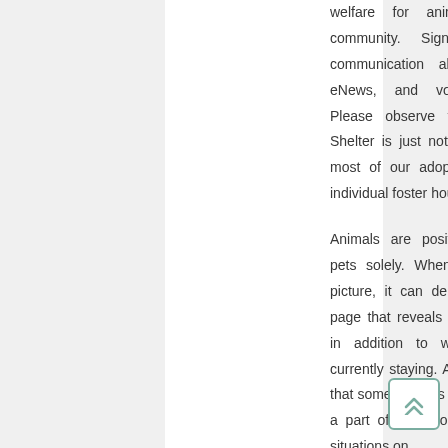welfare for animals in our local community. Signal up to obtain communication about pet adoptions, eNews, and volunteer alternatives. Please observe that our Emergency Shelter is just not a public shelter and most of our adoptable animals are in individual foster houses.
Animals are positioned as household pets solely. When clicking on a cats' picture, it can deliver you to the web page that reveals extra info about them in addition to which retailer they're currently staying. A more restrictive view that some shelters attempt to combine as a part of the adoption agreement puts situations on